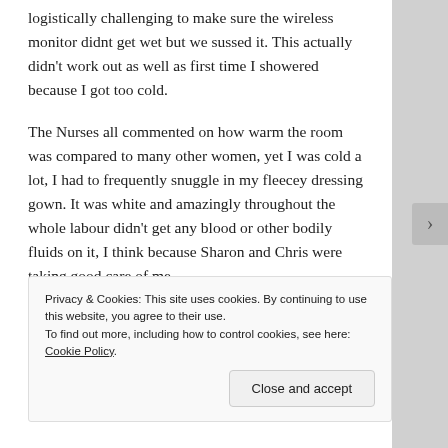logistically challenging to make sure the wireless monitor didnt get wet but we sussed it. This actually didn't work out as well as first time I showered because I got too cold.
The Nurses all commented on how warm the room was compared to many other women, yet I was cold a lot, I had to frequently snuggle in my fleecey dressing gown.  It was white and amazingly throughout the whole labour didn't get any blood or other bodily fluids on it, I think because Sharon and Chris were taking good care of me.
Apparently at around 1PM Chris and Sharon had a discussion on when I'd deliver – Sharon hazarded a guess for 3:30PM and...
Privacy & Cookies:  This site uses cookies.  By continuing to use this website, you agree to their use.
To find out more, including how to control cookies, see here: Cookie Policy
Close and accept